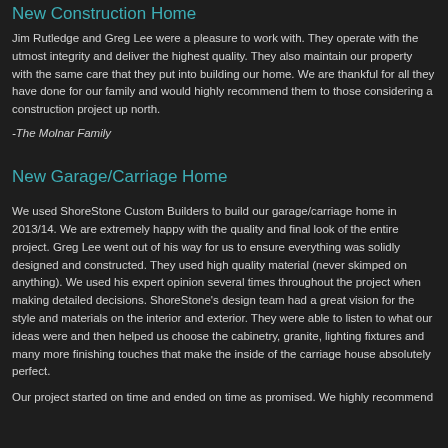New Construction Home
Jim Rutledge and Greg Lee were a pleasure to work with. They operate with the utmost integrity and deliver the highest quality. They also maintain our property with the same care that they put into building our home. We are thankful for all they have done for our family and would highly recommend them to those considering a construction project up north.
-The Molnar Family
New Garage/Carriage Home
We used ShoreStone Custom Builders to build our garage/carriage home in 2013/14. We are extremely happy with the quality and final look of the entire project. Greg Lee went out of his way for us to ensure everything was solidly designed and constructed. They used high quality material (never skimped on anything). We used his expert opinion several times throughout the project when making detailed decisions. ShoreStone's design team had a great vision for the style and materials on the interior and exterior. They were able to listen to what our ideas were and then helped us choose the cabinetry, granite, lighting fixtures and many more finishing touches that make the inside of the carriage house absolutely perfect.
Our project started on time and ended on time as promised. We highly recommend